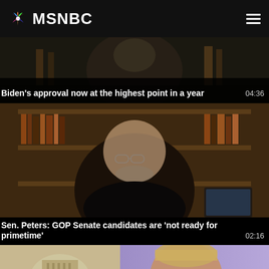MSNBC
[Figure (screenshot): Video thumbnail showing a partial view of a news segment]
Biden's approval now at the highest point in a year   04:36
[Figure (screenshot): Video thumbnail showing Sen. Peters in front of a bookshelf during a video interview]
Sen. Peters: GOP Senate candidates are 'not ready for primetime'   02:16
[Figure (screenshot): Video thumbnail showing a woman news anchor in front of the US Capitol building]